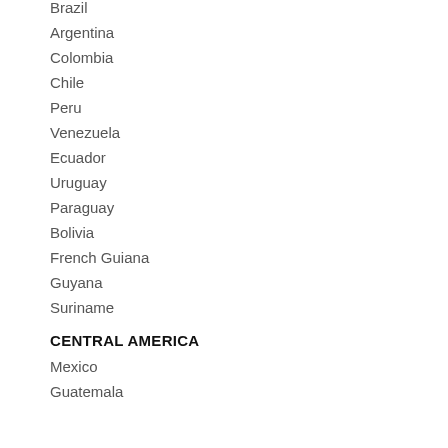Brazil
Argentina
Colombia
Chile
Peru
Venezuela
Ecuador
Uruguay
Paraguay
Bolivia
French Guiana
Guyana
Suriname
CENTRAL AMERICA
Mexico
Guatemala